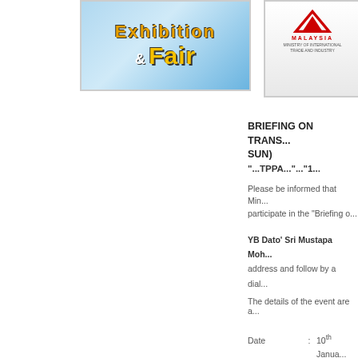[Figure (illustration): Exhibition & Fair event banner with blue gradient background, text '& Fair' in yellow/gold bold font]
[Figure (logo): MITI Malaysia logo - Ministry of International Trade and Industry Malaysia, red chevron/arrow icon with MALAYSIA text below]
BRIEFING ON TRANS... SUN)
"...TPPA..."...1...
Please be informed that Min... participate in the "Briefing o...
YB Dato' Sri Mustapa Moh... address and follow by a dial...
The details of the event are a...
Date : 10th Janua...
Time : 8.30 am...